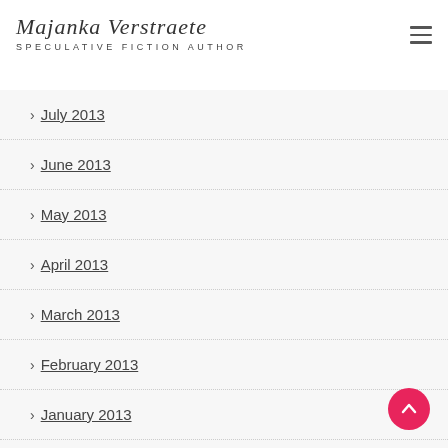Majanka Verstraete — SPECULATIVE FICTION AUTHOR
> July 2013
> June 2013
> May 2013
> April 2013
> March 2013
> February 2013
> January 2013